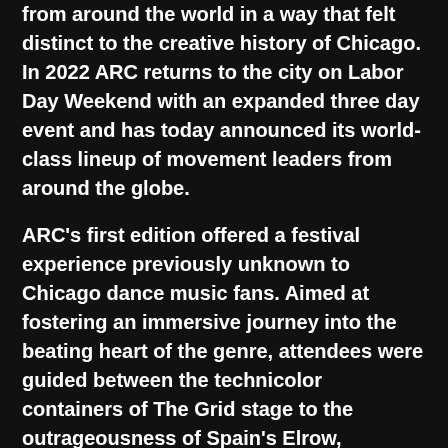from around the world in a way that felt distinct to the creative history of Chicago. In 2022 ARC returns to the city on Labor Day Weekend with an expanded three day event and has today announced its world-class lineup of movement leaders from around the globe.
ARC's first edition offered a festival experience previously unknown to Chicago dance music fans. Aimed at fostering an immersive journey into the beating heart of the genre, attendees were guided between the technicolor containers of The Grid stage to the outrageousness of Spain's Elrow, onwards to the deeper shades of Expansions. The result was a city-wide vibe that extended into premiere venues by night, earning the attention of the industry and leaving those out of the loop longing for ARC's return.